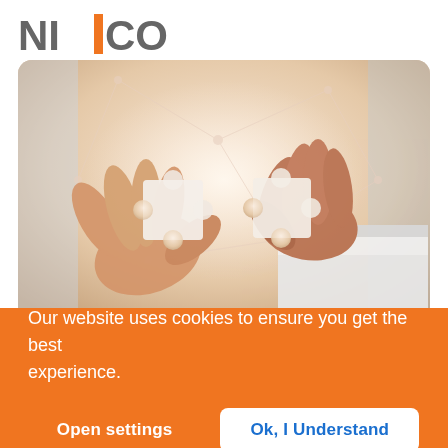[Figure (logo): NIFCO logo with orange vertical bar between NI and CO]
[Figure (photo): Two hands holding puzzle pieces about to connect, with glowing network lines overlay, representing supply chain partnership]
NIFCO Supply Chain
Our website uses cookies to ensure you get the best experience.
Open settings
Ok, I Understand